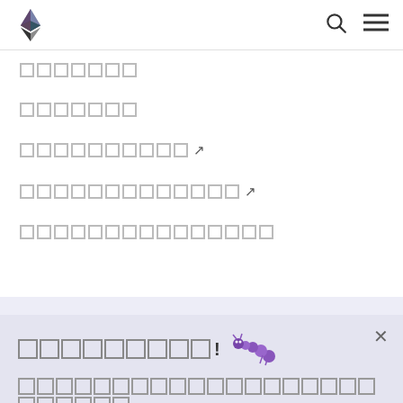Ethereum navigation header with logo, search icon, and menu icon
[nav item 1 - redacted text]
[nav item 2 - redacted text]
[nav item 3 with external link arrow - redacted text]
[nav item 4 with external link arrow - redacted text]
[nav item 5 - partially visible - redacted text]
[Figure (screenshot): Cookie consent modal with caterpillar emoji, title text, description text, and a blue accept button on a light purple background overlay]
[partially visible nav items below modal]